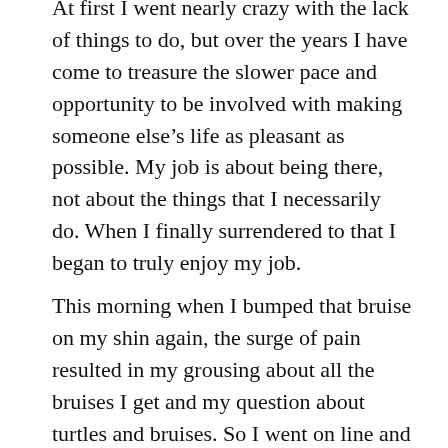At first I went nearly crazy with the lack of things to do, but over the years I have come to treasure the slower pace and opportunity to be involved with making someone else's life as pleasant as possible. My job is about being there, not about the things that I necessarily do. When I finally surrendered to that I began to truly enjoy my job.
This morning when I bumped that bruise on my shin again, the surge of pain resulted in my grousing about all the bruises I get and my question about turtles and bruises. So I went on line and asked google to enlighten me on the subject. There were only 8,610,000 hits. Most of the articles had to do with the health and well-being of turtles. “Ask Dr. Science” had some